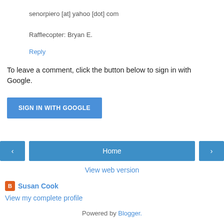senorpiero [at] yahoo [dot] com
Rafflecopter: Bryan E.
Reply
To leave a comment, click the button below to sign in with Google.
[Figure (other): Blue 'SIGN IN WITH GOOGLE' button]
[Figure (other): Navigation bar with left arrow, Home button, and right arrow]
View web version
Susan Cook
View my complete profile
Powered by Blogger.